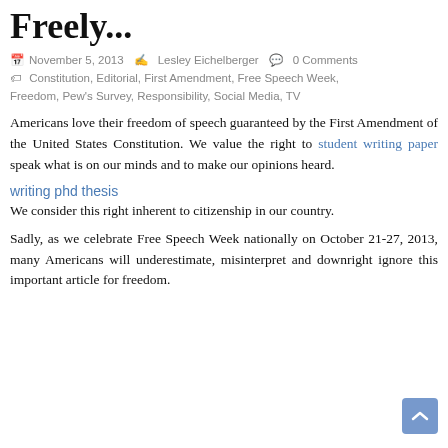Freely...
November 5, 2013   Lesley Eichelberger   0 Comments
Constitution, Editorial, First Amendment, Free Speech Week, Freedom, Pew's Survey, Responsibility, Social Media, TV
Americans love their freedom of speech guaranteed by the First Amendment of the United States Constitution. We value the right to student writing paper speak what is on our minds and to make our opinions heard.
writing phd thesis
We consider this right inherent to citizenship in our country.
Sadly, as we celebrate Free Speech Week nationally on October 21-27, 2013, many Americans will underestimate, misinterpret and downright ignore this important article for freedom.